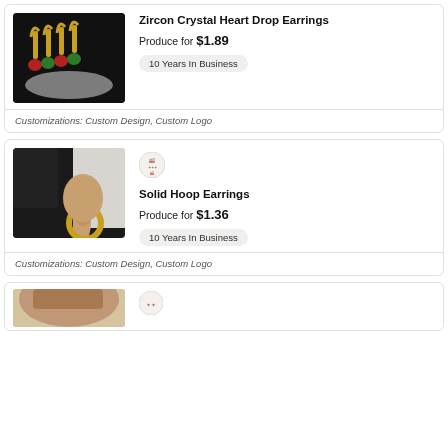[Figure (photo): Photo of Zircon Crystal Heart Drop Earrings - gold hoop earrings with red and green heart-shaped zircon crystals on black background]
Zircon Crystal Heart Drop Earrings
Produce for $1.89
10 Years In Business
Customizations: Custom Design, Custom Logo
[Figure (photo): Photo of Solid Hoop Earrings - gold chunky hoop earrings worn by a woman with dark hair]
Solid Hoop Earrings
Produce for $1.36
10 Years In Business
Customizations: Custom Design, Custom Logo
[Figure (photo): Partial photo of earrings product - third listing partially visible at bottom]